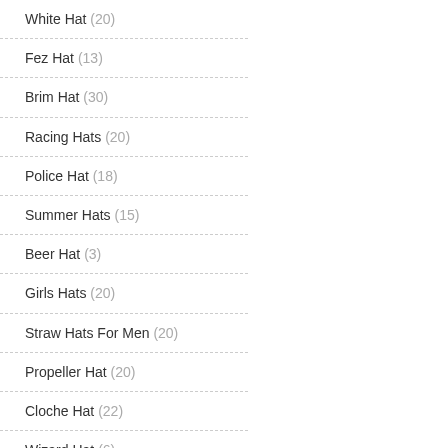White Hat (20)
Fez Hat (13)
Brim Hat (30)
Racing Hats (20)
Police Hat (18)
Summer Hats (15)
Beer Hat (3)
Girls Hats (20)
Straw Hats For Men (20)
Propeller Hat (20)
Cloche Hat (22)
Wizard Hat (6)
Myer Hats (26)
Winter Hat (26)
Green Hat (14)
Yankees Hat (25)